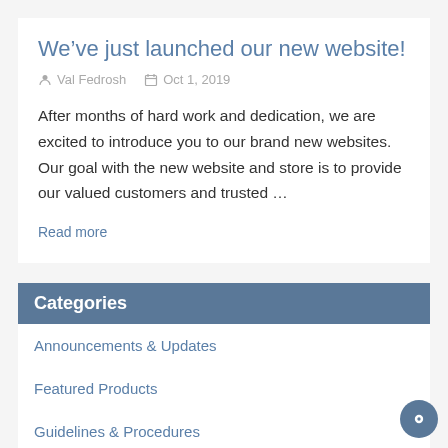We've just launched our new website!
Val Fedrosh   Oct 1, 2019
After months of hard work and dedication, we are excited to introduce you to our brand new websites. Our goal with the new website and store is to provide our valued customers and trusted …
Read more
Categories
Announcements & Updates
Featured Products
Guidelines & Procedures
Product Highlights